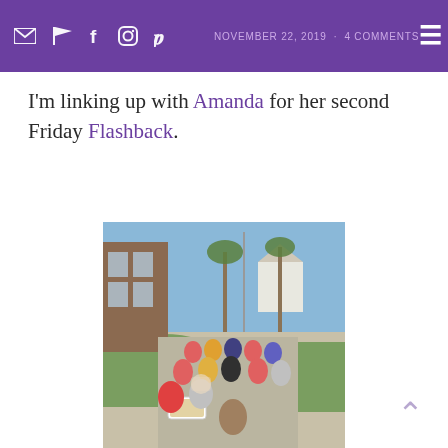NOVEMBER 22, 2019 · 4 COMMENTS
I'm linking up with Amanda for her second Friday Flashback.
[Figure (photo): Outdoor photo of a group of elementary school children sitting on a sidewalk and grass area outside a brick school building, working on a hands-on activity with a white container/tray in front of them. Palm trees and a blue sky visible in background.]